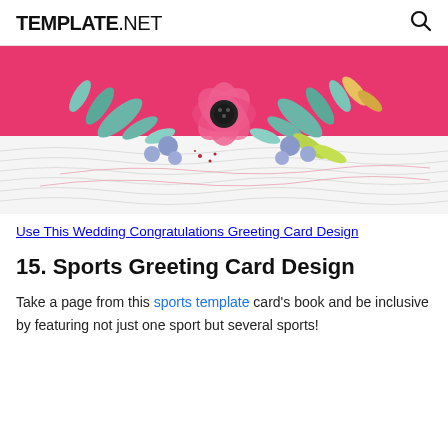TEMPLATE.NET
[Figure (illustration): Wedding congratulations greeting card design showing watercolor flowers (pink and blue) on a pink background top half, with wavy white/light gray lines on the bottom half]
Use This Wedding Congratulations Greeting Card Design
15. Sports Greeting Card Design
Take a page from this sports template card's book and be inclusive by featuring not just one sport but several sports!